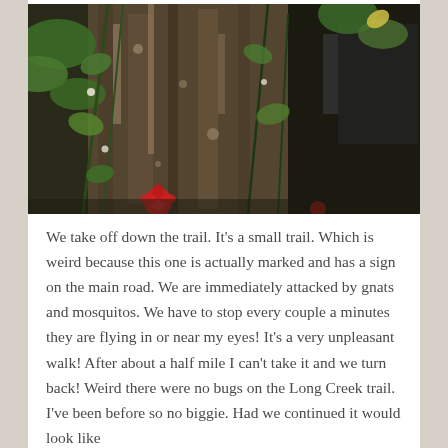[Figure (photo): Photograph of a large tree trunk with bark texture, surrounded by green vines and plants with leaves. Some red flowers are visible at the bottom. The background shows dark foliage and possibly a vehicle or structure on the right side.]
We take off down the trail. It's a small trail. Which is weird because this one is actually marked and has a sign on the main road. We are immediately attacked by gnats and mosquitos. We have to stop every couple a minutes they are flying in or near my eyes! It's a very unpleasant walk! After about a half mile I can't take it and we turn back! Weird there were no bugs on the Long Creek trail. I've been before so no biggie. Had we continued it would look like